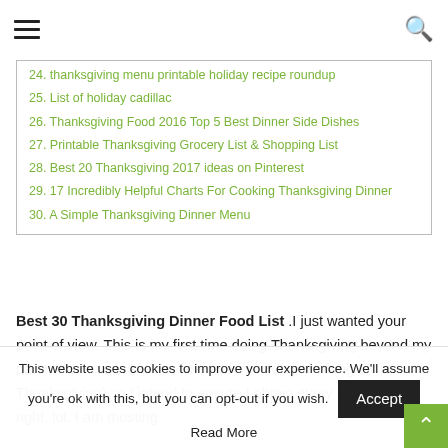≡  🔍
24. thanksgiving menu printable holiday recipe roundup
25. List of holiday cadillac
26. Thanksgiving Food 2016 Top 5 Best Dinner Side Dishes
27. Printable Thanksgiving Grocery List & Shopping List
28. Best 20 Thanksgiving 2017 ideas on Pinterest
29. 17 Incredibly Helpful Charts For Cooking Thanksgiving Dinner
30. A Simple Thanksgiving Dinner Menu
Best 30 Thanksgiving Dinner Food List .I just wanted your point of view. This is my first time doing Thanksgiving beyond my parent's house (very first time even cooking anything for Thanksgiving) so I intend to ensure I obtain every little thing right, lol. I am mosting like…
This website uses cookies to improve your experience. We'll assume you're ok with this, but you can opt-out if you wish.  Accept  Read More